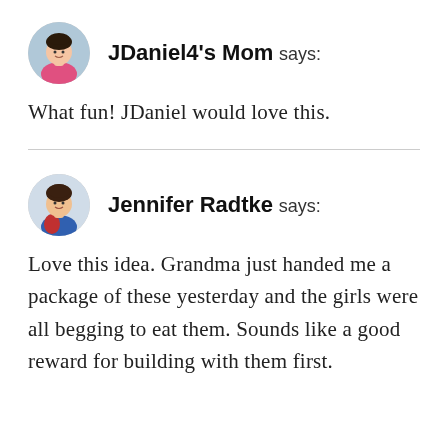JDaniel4's Mom says:
What fun! JDaniel would love this.
Jennifer Radtke says:
Love this idea. Grandma just handed me a package of these yesterday and the girls were all begging to eat them. Sounds like a good reward for building with them first.